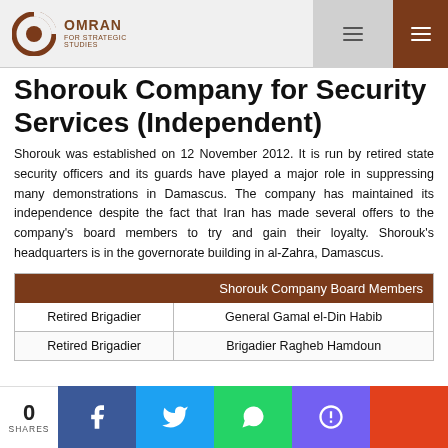OMRAN FOR STRATEGIC STUDIES
Shorouk Company for Security Services (Independent)
Shorouk was established on 12 November 2012. It is run by retired state security officers and its guards have played a major role in suppressing many demonstrations in Damascus. The company has maintained its independence despite the fact that Iran has made several offers to the company's board members to try and gain their loyalty. Shorouk's headquarters is in the governorate building in al-Zahra, Damascus.
|  | Shorouk Company Board Members |
| --- | --- |
| Retired Brigadier | General Gamal el-Din Habib |
| Retired Brigadier | Brigadier Ragheb Hamdoun |
0 SHARES | Facebook | Twitter | WhatsApp | Viber | +